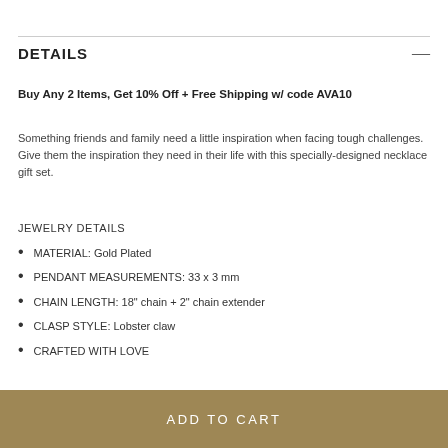DETAILS
Buy Any 2 Items, Get 10% Off + Free Shipping w/ code AVA10
Something friends and family need a little inspiration when facing tough challenges. Give them the inspiration they need in their life with this specially-designed necklace gift set.
JEWELRY DETAILS
MATERIAL: Gold Plated
PENDANT MEASUREMENTS: 33 x 3 mm
CHAIN LENGTH: 18" chain + 2" chain extender
CLASP STYLE: Lobster claw
CRAFTED WITH LOVE
ADD TO CART